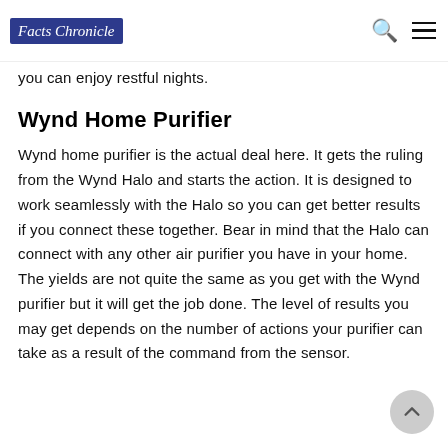Facts Chronicle
you can enjoy restful nights.
Wynd Home Purifier
Wynd home purifier is the actual deal here. It gets the ruling from the Wynd Halo and starts the action. It is designed to work seamlessly with the Halo so you can get better results if you connect these together. Bear in mind that the Halo can connect with any other air purifier you have in your home. The yields are not quite the same as you get with the Wynd purifier but it will get the job done. The level of results you may get depends on the number of actions your purifier can take as a result of the command from the sensor.